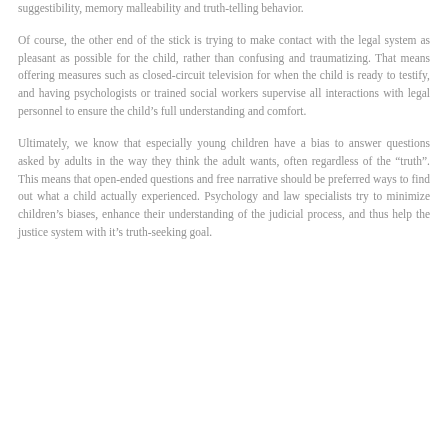suggestibility, memory malleability and truth-telling behavior.
Of course, the other end of the stick is trying to make contact with the legal system as pleasant as possible for the child, rather than confusing and traumatizing. That means offering measures such as closed-circuit television for when the child is ready to testify, and having psychologists or trained social workers supervise all interactions with legal personnel to ensure the child’s full understanding and comfort.
Ultimately, we know that especially young children have a bias to answer questions asked by adults in the way they think the adult wants, often regardless of the “truth”. This means that open-ended questions and free narrative should be preferred ways to find out what a child actually experienced. Psychology and law specialists try to minimize children’s biases, enhance their understanding of the judicial process, and thus help the justice system with it’s truth-seeking goal.